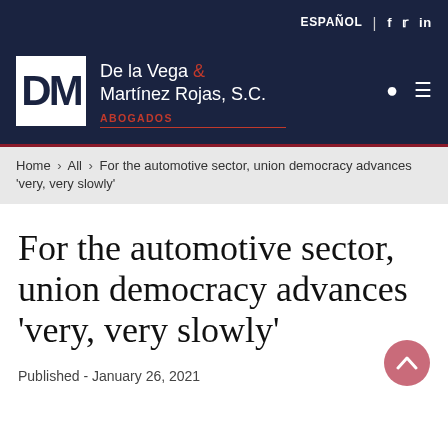ESPAÑOL | f  in
[Figure (logo): De la Vega & Martínez Rojas, S.C. ABOGADOS logo with DM monogram in white box on dark navy background]
Home › All › For the automotive sector, union democracy advances 'very, very slowly'
For the automotive sector, union democracy advances 'very, very slowly'
Published - January 26, 2021